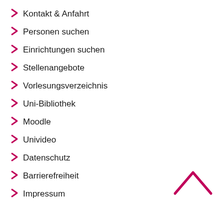Kontakt & Anfahrt
Personen suchen
Einrichtungen suchen
Stellenangebote
Vorlesungsverzeichnis
Uni-Bibliothek
Moodle
Univideo
Datenschutz
Barrierefreiheit
Impressum
[Figure (other): Chevron/caret up arrow in dark pink/crimson color, used as a scroll-to-top button in bottom right corner]